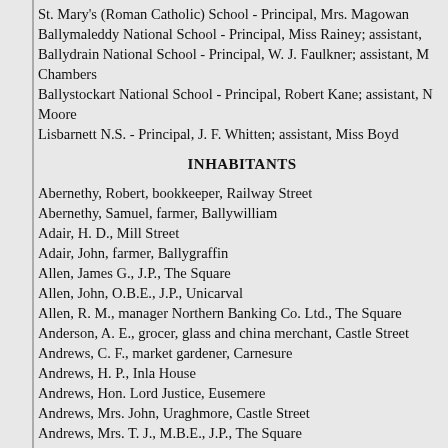St. Mary's (Roman Catholic) School - Principal, Mrs. Magowan
Ballymaleddy National School - Principal, Miss Rainey; assistant,
Ballydrain National School - Principal, W. J. Faulkner; assistant, M Chambers
Ballystockart National School - Principal, Robert Kane; assistant, N Moore
Lisbarnett N.S. - Principal, J. F. Whitten; assistant, Miss Boyd
INHABITANTS
Abernethy, Robert, bookkeeper, Railway Street
Abernethy, Samuel, farmer, Ballywilliam
Adair, H. D., Mill Street
Adair, John, farmer, Ballygraffin
Allen, James G., J.P., The Square
Allen, John, O.B.E., J.P., Unicarval
Allen, R. M., manager Northern Banking Co. Ltd., The Square
Anderson, A. E., grocer, glass and china merchant, Castle Street
Andrews, C. F., market gardener, Carnesure
Andrews, H. P., Inla House
Andrews, Hon. Lord Justice, Eusemere
Andrews, Mrs. John, Uraghmore, Castle Street
Andrews, Mrs. T. J., M.B.E., J.P., The Square
Andrews, Right Hon. John M., D.L., M.P., Maxwell Court
Andrews, Mrs. Thomas, Ardara
Andrews, William, Ardara